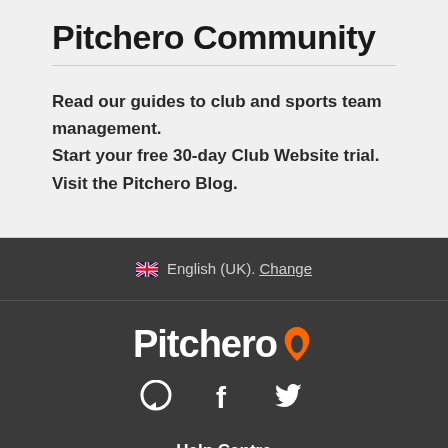Pitchero Community
Read our guides to club and sports team management.
Start your free 30-day Club Website trial.
Visit the Pitchero Blog.
🇬🇧 English (UK). Change
[Figure (logo): Pitchero logo in white text with flame icon]
[Figure (infographic): Social media icons: speech bubble, Facebook f, Twitter bird]
Help Centre
About
Advertising